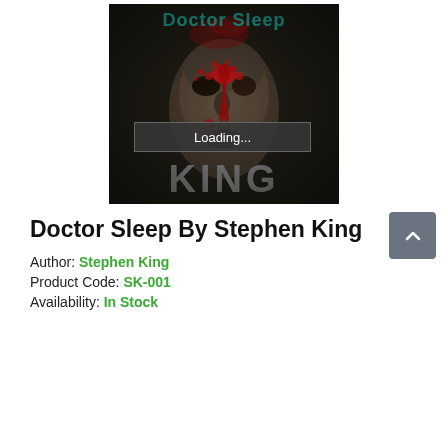[Figure (illustration): Book cover of Doctor Sleep by Stephen King — dark horror cover showing a menacing face with red splatter, teal 'Doctor Sleep' title text at top, and metallic 'KING' text at bottom. A 'Loading...' overlay bar appears in the middle of the image.]
Doctor Sleep By Stephen King
Author: Stephen King
Product Code: SK-001
Availability: In Stock